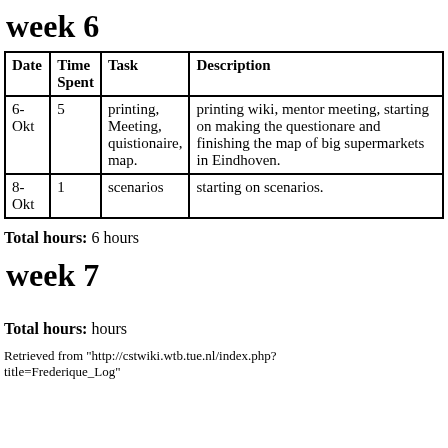week 6
| Date | Time Spent | Task | Description |
| --- | --- | --- | --- |
| 6-Okt | 5 | printing, Meeting, quistionaire, map. | printing wiki, mentor meeting, starting on making the questionare and finishing the map of big supermarkets in Eindhoven. |
| 8-Okt | 1 | scenarios | starting on scenarios. |
Total hours: 6 hours
week 7
Total hours: hours
Retrieved from "http://cstwiki.wtb.tue.nl/index.php?title=Frederique_Log"